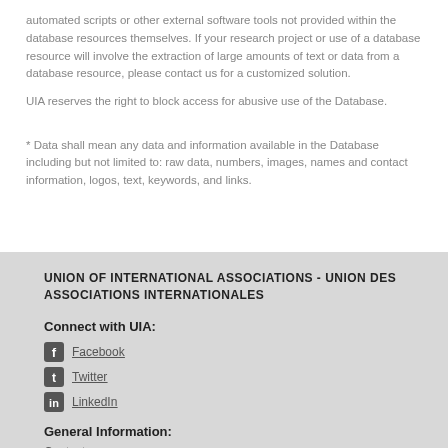automated scripts or other external software tools not provided within the database resources themselves. If your research project or use of a database resource will involve the extraction of large amounts of text or data from a database resource, please contact us for a customized solution.
UIA reserves the right to block access for abusive use of the Database.
* Data shall mean any data and information available in the Database including but not limited to: raw data, numbers, images, names and contact information, logos, text, keywords, and links.
UNION OF INTERNATIONAL ASSOCIATIONS - UNION DES ASSOCIATIONS INTERNATIONALES
Connect with UIA:
Facebook
Twitter
LinkedIn
General Information:
Contact
History
UIA's profile in the Yearbook
Institutional Status